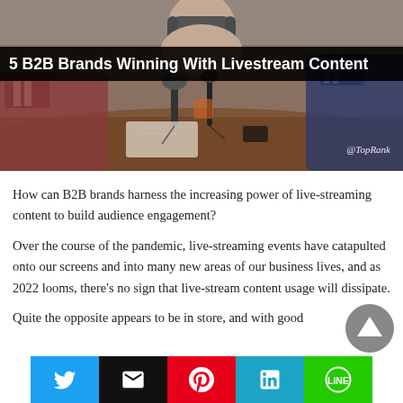[Figure (photo): People sitting around a table with microphones and recording equipment, appearing to be in a podcast or livestream session. A woman with headphones is visible in the background.]
5 B2B Brands Winning With Livestream Content
How can B2B brands harness the increasing power of live-streaming content to build audience engagement?
Over the course of the pandemic, live-streaming events have catapulted onto our screens and into many new areas of our business lives, and as 2022 looms, there's no sign that live-stream content usage will dissipate.
Quite the opposite appears to be in store, and with good